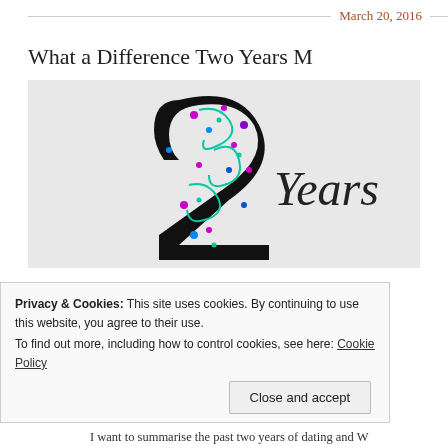March 20, 2016
What a Difference Two Years M
[Figure (illustration): Decorative image showing a large stylized number '2' with colorful paisley/dot patterns on a black background, with the word 'Years' in cursive script to the right.]
Privacy & Cookies: This site uses cookies. By continuing to use this website, you agree to their use.
To find out more, including how to control cookies, see here: Cookie Policy
Close and accept
I want to summarise the past two years of dating and W